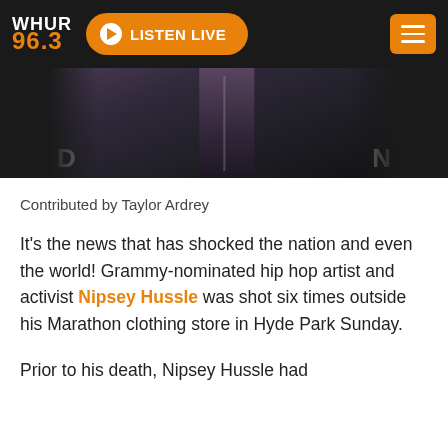WHUR 96.3 LISTEN LIVE
[Figure (photo): Partial photo of a person in a black zip-up jacket against a dark background with partial letters 'D' and 'N' visible at bottom]
Contributed by Taylor Ardrey
It’s the news that has shocked the nation and even the world! Grammy-nominated hip hop artist and activist Nipsey Hussle was shot six times outside his Marathon clothing store in Hyde Park Sunday.
Prior to his death, Nipsey Hussle had